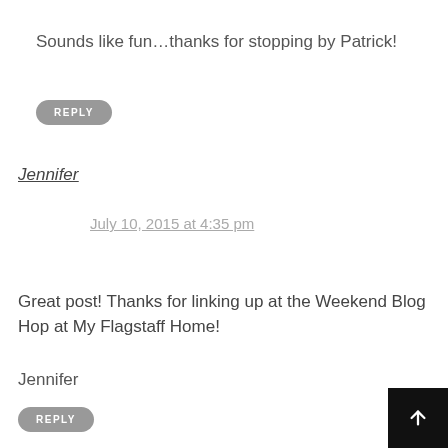Sounds like fun…thanks for stopping by Patrick!
REPLY
Jennifer
July 10, 2015 at 4:35 pm
Great post! Thanks for linking up at the Weekend Blog Hop at My Flagstaff Home!
Jennifer
REPLY